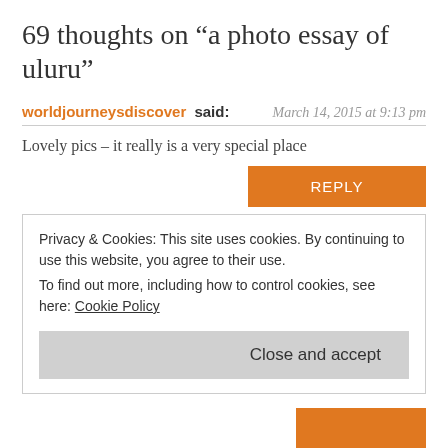69 thoughts on “a photo essay of uluru”
worldjourneysdiscover said: March 14, 2015 at 9:13 pm
Lovely pics – it really is a very special place
wisemonkeysabroad responded: March 16, 2015 at 8:50 am
Hey there 🙂 Hope you have been well! Uluru is not only great to look at but also has a great ambience to go with, huh?
Privacy & Cookies: This site uses cookies. By continuing to use this website, you agree to their use.
To find out more, including how to control cookies, see here: Cookie Policy